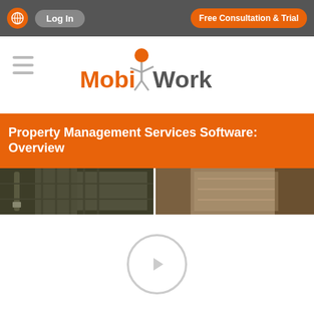Log In | Free Consultation & Trial
[Figure (logo): MobiWork logo with orange person icon and stylized text]
Property Management Services Software: Overview
[Figure (photo): Two side-by-side photos showing property/tools imagery]
[Figure (other): Video play button overlay on white background]